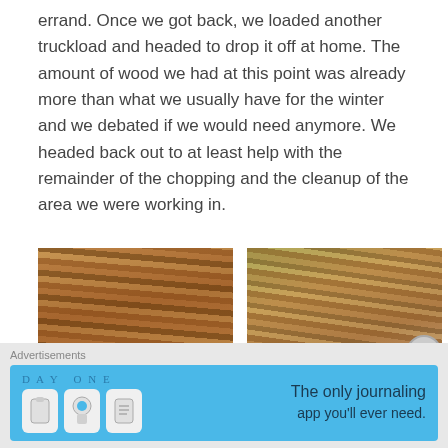errand. Once we got back, we loaded another truckload and headed to drop it off at home. The amount of wood we had at this point was already more than what we usually have for the winter and we debated if we would need anymore. We headed back out to at least help with the remainder of the chopping and the cleanup of the area we were working in.
[Figure (photo): A large pile of chopped firewood stacked against the side of a house, viewed from outside.]
[Figure (photo): Another pile of chopped firewood stacked against the side of a house, with green shrubs visible in the background.]
Advertisements
[Figure (screenshot): Advertisement banner for Day One journaling app. Blue background with DAY ONE logo, three app icons, and text reading 'The only journaling app you'll ever need.']